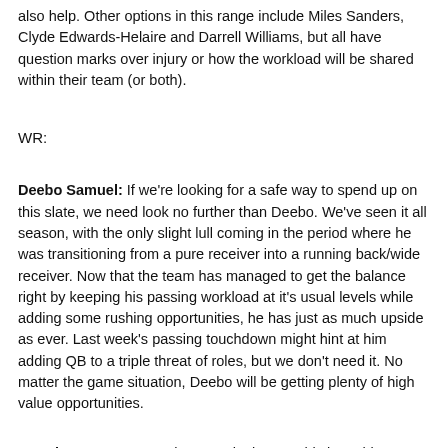also help. Other options in this range include Miles Sanders, Clyde Edwards-Helaire and Darrell Williams, but all have question marks over injury or how the workload will be shared within their team (or both).
WR:
Deebo Samuel: If we're looking for a safe way to spend up on this slate, we need look no further than Deebo. We've seen it all season, with the only slight lull coming in the period where he was transitioning from a pure receiver into a running back/wide receiver. Now that the team has managed to get the balance right by keeping his passing workload at it's usual levels while adding some rushing opportunities, he has just as much upside as ever. Last week's passing touchdown might hint at him adding QB to a triple threat of roles, but we don't need it. No matter the game situation, Deebo will be getting plenty of high value opportunities.
Amari Cooper: Cooper hasn't quite been at his best this season, struggling to reach the heights of week 1 when he went 40+. Still,